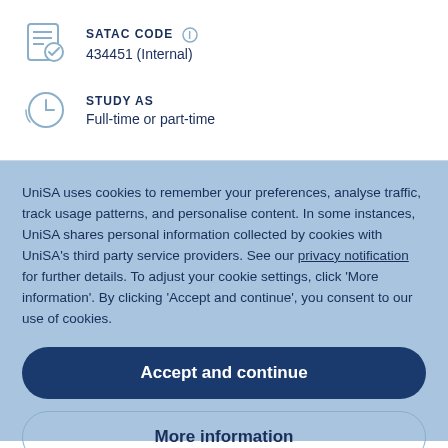SATAC CODE
434451 (Internal)
STUDY AS
Full-time or part-time
UniSA uses cookies to remember your preferences, analyse traffic, track usage patterns, and personalise content. In some instances, UniSA shares personal information collected by cookies with UniSA's third party service providers. See our privacy notification for further details. To adjust your cookie settings, click 'More information'. By clicking 'Accept and continue', you consent to our use of cookies.
Accept and continue
More information